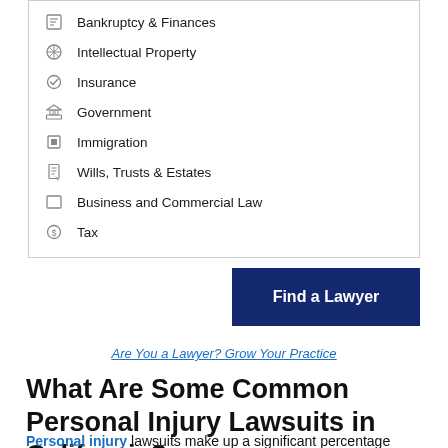Bankruptcy & Finances
Intellectual Property
Insurance
Government
Immigration
Wills, Trusts & Estates
Business and Commercial Law
Tax
Find a Lawyer
Are You a Lawyer? Grow Your Practice
What Are Some Common Personal Injury Lawsuits in California?
Personal injury lawsuits make up a significant percentage